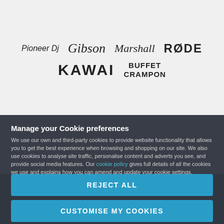[Figure (logo): Brand logos: Pioneer DJ, Gibson, Marshall, RØDE, KAWAI, Buffet Crampon on light grey background]
Manage your Cookie preferences
We use our own and third-party cookies to provide website functionality that allows you to get the best experience when browsing and shopping on our site. We also use cookies to analyse site traffic, personalise content and adverts you see, and provide social media features. Our cookie policy gives full details of all the cookies we use and explains how you can amend and update your cookie settings.
REJECT ALL
CUSTOMISE MY COOKIES
ALLOW ALL